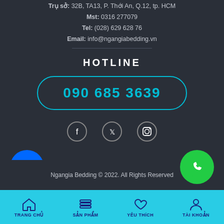Trụ sở: 32B, TA13, P. Thới An, Q.12, tp. HCM
Mst: 0316 277079
Tel: (028) 629 628 76
Email: info@ngangiabedding.vn
HOTLINE
090 685 3639
[Figure (infographic): Social media icons: Facebook, Twitter, Instagram in circular borders]
[Figure (logo): Zalo app icon - blue circle with Zalo logo]
Ngangia Bedding © 2022. All Rights Reserved
[Figure (infographic): Green phone call button circle]
[Figure (infographic): Bottom navigation bar with icons: TRANG CHU (home), SAN PHAM (products), YEU THICH (favorites), TAI KHOAN (account)]